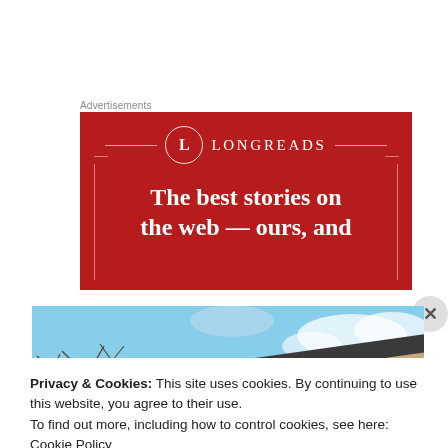Advertisements
[Figure (illustration): Longreads advertisement banner with red background. Shows the Longreads logo (circle with L) and text: 'The best stories on the web — ours, and']
[Figure (photo): Photo of a building roofline with windows against a partly cloudy blue sky, with bare tree branches on the left side.]
Privacy & Cookies: This site uses cookies. By continuing to use this website, you agree to their use.
To find out more, including how to control cookies, see here: Cookie Policy
Close and accept